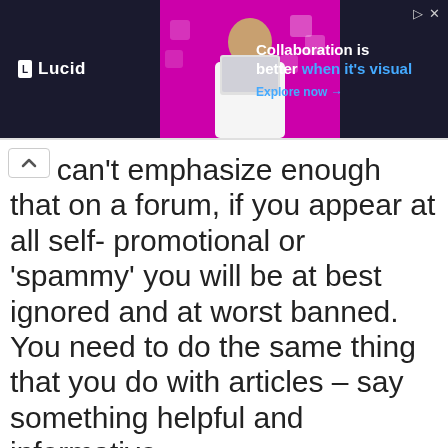[Figure (screenshot): Lucid advertisement banner with dark background showing 'Collaboration is better when it's visual. Explore now →' with a woman working at a laptop against a pink/magenta background with geometric shapes]
we can't emphasize enough that on a forum, if you appear at all self- promotional or 'spammy' you will be at best ignored and at worst banned. You need to do the same thing that you do with articles – say something helpful and informative.
One word of advice – don't ask questions that contradict what your signature file says.
For instance, on internet marketing sites, don't ask for the best ways to...